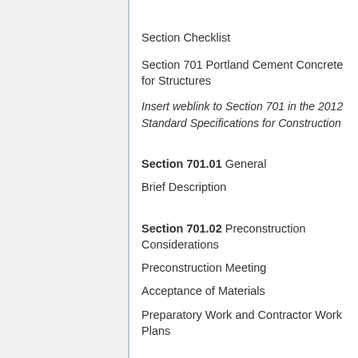Section Checklist
Section 701 Portland Cement Concrete for Structures
Insert weblink to Section 701 in the 2012 Standard Specifications for Construction
Section 701.01 General
Brief Description
Section 701.02 Preconstruction Considerations
Preconstruction Meeting
Acceptance of Materials
Preparatory Work and Contractor Work Plans